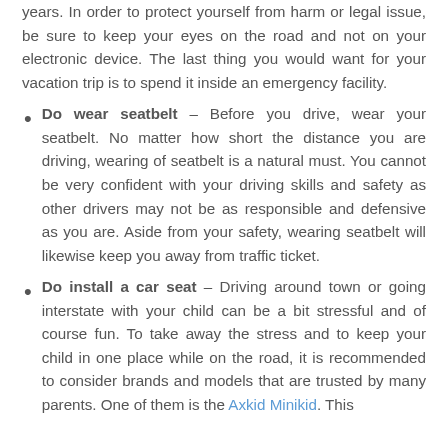years. In order to protect yourself from harm or legal issue, be sure to keep your eyes on the road and not on your electronic device. The last thing you would want for your vacation trip is to spend it inside an emergency facility.
Do wear seatbelt – Before you drive, wear your seatbelt. No matter how short the distance you are driving, wearing of seatbelt is a natural must. You cannot be very confident with your driving skills and safety as other drivers may not be as responsible and defensive as you are. Aside from your safety, wearing seatbelt will likewise keep you away from traffic ticket.
Do install a car seat – Driving around town or going interstate with your child can be a bit stressful and of course fun. To take away the stress and to keep your child in one place while on the road, it is recommended to consider brands and models that are trusted by many parents. One of them is the Axkid Minikid. This